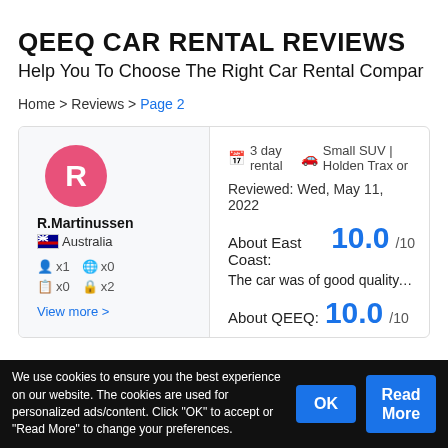QEEQ CAR RENTAL REVIEWS
Help You To Choose The Right Car Rental Company
Home > Reviews > Page 2
R.Martinussen
Australia
x1  x0
x0  x2
View more >
3 day rental   Small SUV | Holden Trax or...
Reviewed: Wed, May 11, 2022
About East Coast: 10.0 /10
The car was of good quality, low milea...
About QEEQ: 10.0 /10
We use cookies to ensure you the best experience on our website. The cookies are used for personalized ads/content. Click "OK" to accept or "Read More" to change your preferences.